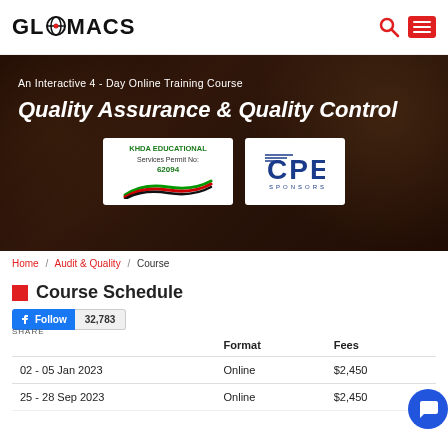GLOMACS
[Figure (illustration): Hero banner with dark overlay showing people in a meeting. Text reads 'An Interactive 4 - Day Online Training Course' and 'Quality Assurance & Quality Control'. Two logos shown: KHDA Educational Services Permit No: 62094 and CPE Sponsors.]
Home / Audit & Quality / Course
Course Schedule
|  | Format | Fees |
| --- | --- | --- |
| 02 - 05 Jan 2023 | Online | $2,450 |
| 25 - 28 Sep 2023 | Online | $2,450 |